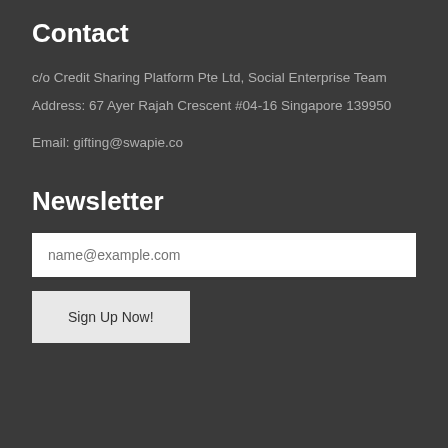Contact
c/o Credit Sharing Platform Pte Ltd, Social Enterprise Team
Address: 67 Ayer Rajah Crescent #04-16 Singapore 139950
Email: gifting@swapie.co
Newsletter
name@example.com
Sign Up Now!